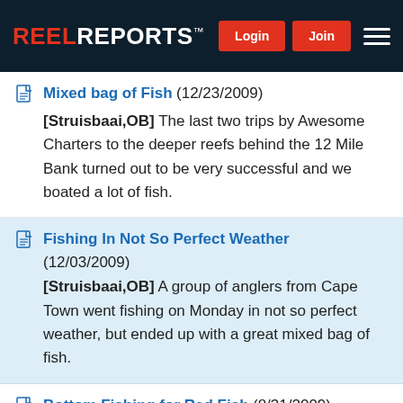REEL REPORTS | Login | Join
Mixed bag of Fish (12/23/2009) [Struisbaai,OB] The last two trips by Awesome Charters to the deeper reefs behind the 12 Mile Bank turned out to be very successful and we boated a lot of fish.
Fishing In Not So Perfect Weather (12/03/2009) [Struisbaai,OB] A group of anglers from Cape Town went fishing on Monday in not so perfect weather, but ended up with a great mixed bag of fish.
Bottom Fishing for Red Fish (8/31/2009)